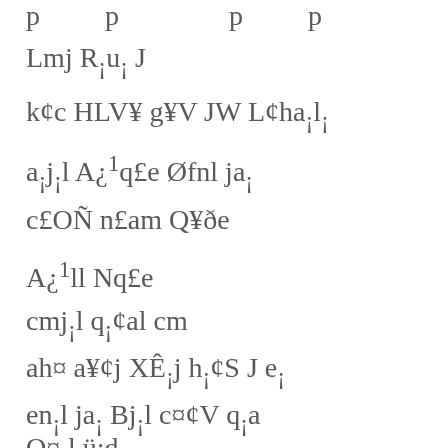p   p   p   p
Lmj R¡u¡ J
k¢c HLV¥ g¥V JW L¢ha¡l¡
a¡j¡l A¿¹q£e Øfnl ja¡
c£OÑ n£am Q¥ðe
A¿¹ll Nq£e
cmj¡l q¡¢al cm
ah¤ a¥¢j XÊ¡j h¡¢S J e¡
en¡l ja¡ Bj¡l c¤¢V q¡a
O¤¡l ü:d